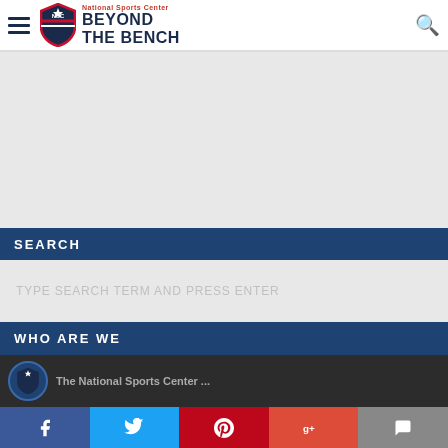National Sports Center Beyond The Bench
[Figure (screenshot): Advertisement banner area - gray background placeholder]
SEARCH
TYPE SEARCH TERM AND PRESS ENTER
WHO ARE WE
[Figure (screenshot): Who Are We section showing NSC logo thumbnail and dark background with partial text The National Sports Center...]
Facebook Twitter Pinterest Google+ Chat social sharing bar